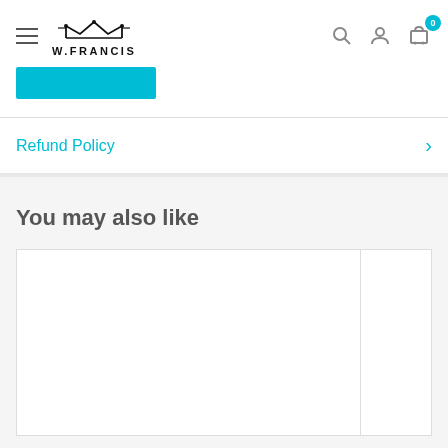W.FRANCIS navigation header with hamburger menu, logo, search, account, and cart (0) icons
[Figure (other): Cyan/teal filled rectangular button bar]
Refund Policy
You may also like
[Figure (other): Product grid cards - two partially visible white product card placeholders]